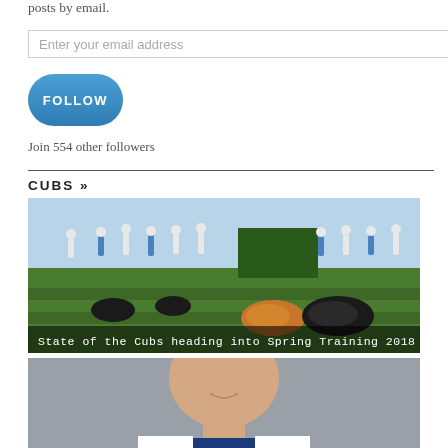posts by email.
Enter your email address
FOLLOW
Join 554 other followers
CUBS »
[Figure (photo): Baseball players warming up on a green field during spring training, with baseball gloves in the foreground. Caption overlay reads: State of the Cubs heading into Spring Training 2018]
State of the Cubs heading into Spring Training 2018
[Figure (photo): Close-up photo of a smiling baseball player in a blue uniform on a grey background]